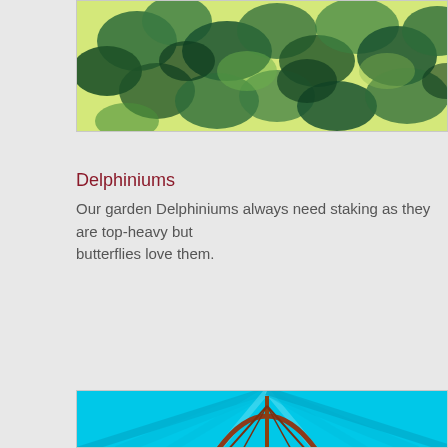[Figure (illustration): Watercolor painting of green foliage with dark green and yellow-green leaves]
Delphiniums
Our garden Delphiniums always need staking as they are top-heavy but butterflies love them.
[Figure (illustration): Blue toned image with circular arch structure and cables, possibly a fairground or architectural feature]